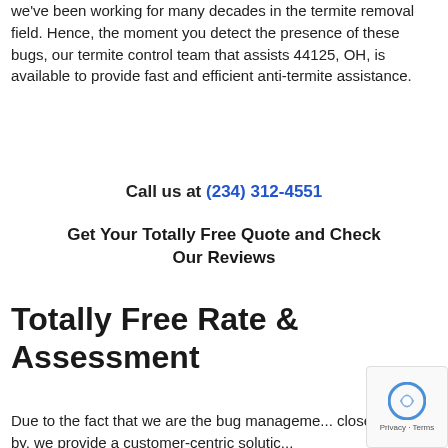we've been working for many decades in the termite removal field. Hence, the moment you detect the presence of these bugs, our termite control team that assists 44125, OH, is available to provide fast and efficient anti-termite assistance.
Call us at (234) 312-4551
Get Your Totally Free Quote and Check Our Reviews
Totally Free Rate & Assessment
Due to the fact that we are the bug manageme... close by, we provide a customer-centric solutic...